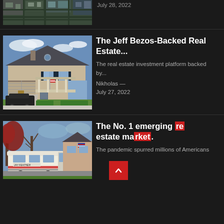[Figure (photo): Aerial view of a neighborhood, partially cropped at top]
July 28, 2022
[Figure (photo): Two-story brick suburban house with garage and parked SUV on driveway]
The Jeff Bezos-Backed Real Estate...
The real estate investment platform backed by...
Nikholas — July 27, 2022
[Figure (photo): RV / Jay Feather camper parked in driveway next to a brick house with American flag]
The No. 1 emerging real estate ma...
The pandemic spurred millions of Americans